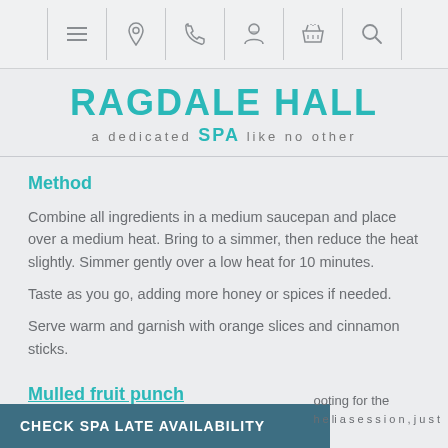Navigation bar with menu, location, phone, account, basket, and search icons
RAGDALE HALL SPA — a dedicated SPA like no other
Method
Combine all ingredients in a medium saucepan and place over a medium heat. Bring to a simmer, then reduce the heat slightly. Simmer gently over a low heat for 10 minutes.
Taste as you go, adding more honey or spices if needed.
Serve warm and garnish with orange slices and cinnamon sticks.
Mulled fruit punch
CHECK SPA LATE AVAILABILITY
ooting for the